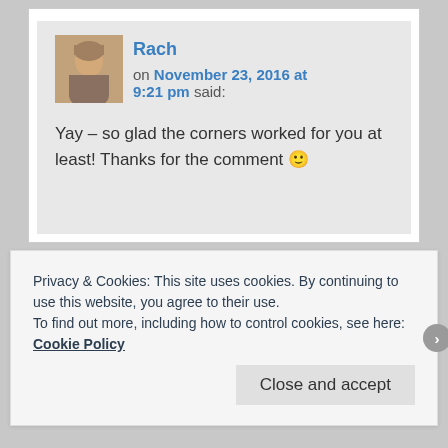Rach on November 23, 2016 at 9:21 pm said: Yay – so glad the corners worked for you at least! Thanks for the comment 🙂
Privacy & Cookies: This site uses cookies. By continuing to use this website, you agree to their use. To find out more, including how to control cookies, see here: Cookie Policy
Close and accept